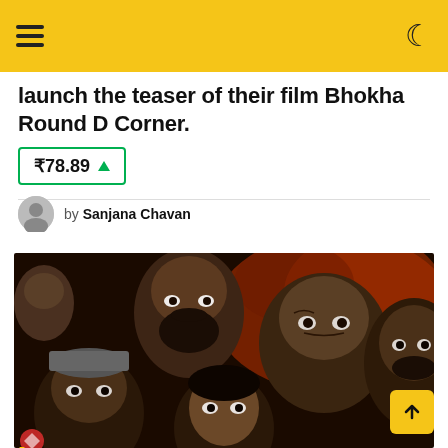Navigation header with hamburger menu and dark mode toggle
launch the teaser of their film Bhokha Round D Corner.
₹78.89 ▲
by Sanjana Chavan
[Figure (illustration): Film poster illustration showing multiple characters faces in a dark, painted style with red and brown tones. Multiple cast members depicted in an artistic painted poster style.]